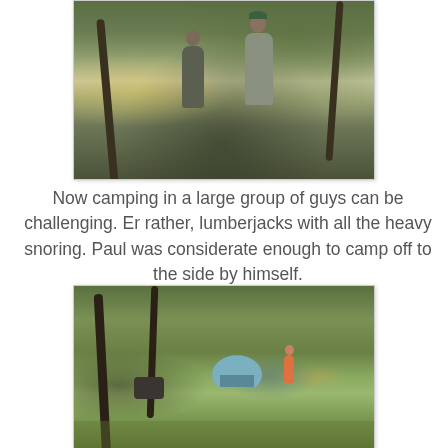[Figure (photo): Two men in motorcycle/outdoor gear standing and talking under trees, with a yellow vehicle visible in the background]
Now camping in a large group of guys can be challenging. Er rather, lumberjacks with all the heavy snoring. Paul was considerate enough to camp off to the side by himself.
[Figure (photo): A campsite in a grassy clearing among trees, showing a blue dome tent, a motorcycle leaning against a tree, and a person standing near the tent]